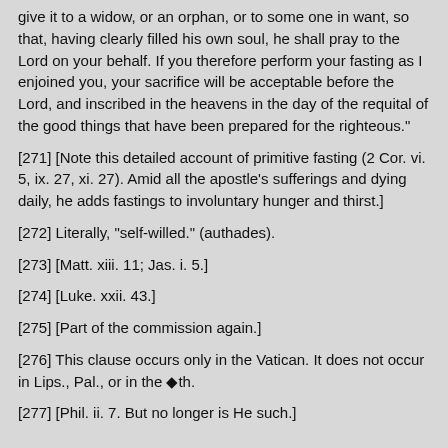give it to a widow, or an orphan, or to some one in want, so that, having clearly filled his own soul, he shall pray to the Lord on your behalf. If you therefore perform your fasting as I enjoined you, your sacrifice will be acceptable before the Lord, and inscribed in the heavens in the day of the requital of the good things that have been prepared for the righteous."
[271] [Note this detailed account of primitive fasting (2 Cor. vi. 5, ix. 27, xi. 27). Amid all the apostle's sufferings and dying daily, he adds fastings to involuntary hunger and thirst.]
[272] Literally, "self-willed." (authades).
[273] [Matt. xiii. 11; Jas. i. 5.]
[274] [Luke. xxii. 43.]
[275] [Part of the commission again.]
[276] This clause occurs only in the Vatican. It does not occur in Lips., Pal., or in the �th.
[277] [Phil. ii. 7. But no longer is He such.]